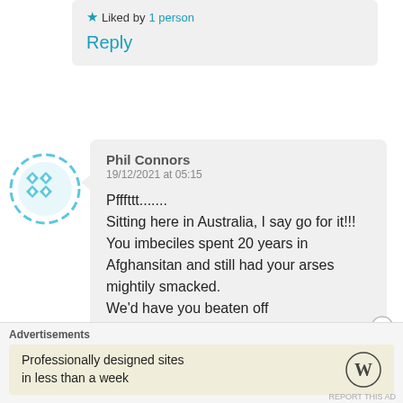★ Liked by 1 person
Reply
Phil Connors
19/12/2021 at 05:15

Pfffttt.......
Sitting here in Australia, I say go for it!!!
You imbeciles spent 20 years in Afghansitan and still had your arses mightily smacked.
We'd have you beaten off
Advertisements
Professionally designed sites in less than a week